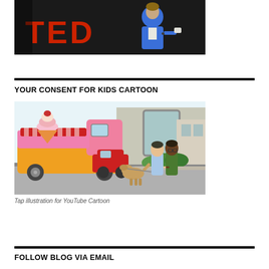[Figure (photo): Person in blue blazer speaking at a TED event, holding a card, with red TED logo letters visible in background]
YOUR CONSENT FOR KIDS CARTOON
[Figure (illustration): Colorful cartoon illustration showing two children and a dog on a city sidewalk next to a pink ice cream truck]
Tap illustration for YouTube Cartoon
FOLLOW BLOG VIA EMAIL